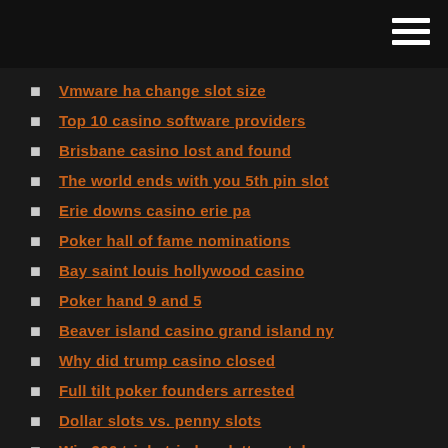Vmware ha change slot size
Top 10 casino software providers
Brisbane casino lost and found
The world ends with you 5th pin slot
Erie downs casino erie pa
Poker hall of fame nominations
Bay saint louis hollywood casino
Poker hand 9 and 5
Beaver island casino grand island ny
Why did trump casino closed
Full tilt poker founders arrested
Dollar slots vs. penny slots
Win 300 triple triad roulette matches
Free online poker no download pogo